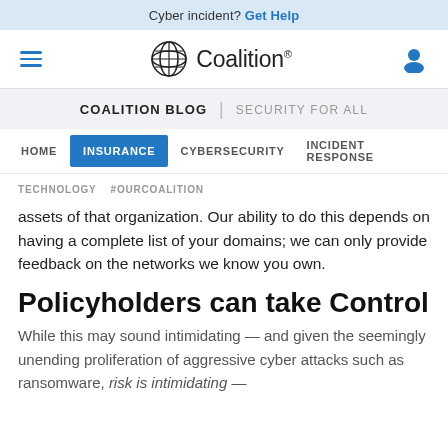Cyber incident? Get Help
[Figure (logo): Coalition logo with globe icon and wordmark]
COALITION BLOG | SECURITY FOR ALL
HOME | INSURANCE | CYBERSECURITY | INCIDENT RESPONSE | TECHNOLOGY | #OURCOALITION
assets of that organization. Our ability to do this depends on having a complete list of your domains; we can only provide feedback on the networks we know you own.
Policyholders can take Control
While this may sound intimidating — and given the seemingly unending proliferation of aggressive cyber attacks such as ransomware, risk is intimidating —